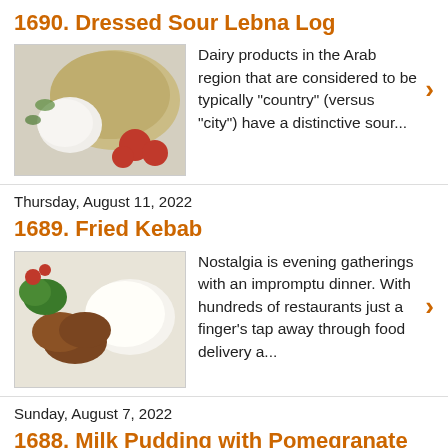1690. Dressed Sour Lebna Log
Dairy products in the Arab region that are considered to be typically "country" (versus "city") have a distinctive sour...
Thursday, August 11, 2022
1689. Fried Kebab
Nostalgia is evening gatherings with an impromptu dinner. With hundreds of restaurants just a finger's tap away through food delivery a...
Sunday, August 7, 2022
1688. Milk Pudding with Pomegranate Jelly
Looking much fancier than it really is, this elegant fruity milk pudding is easy and cheap to put together. Milk is enriched with the addit...